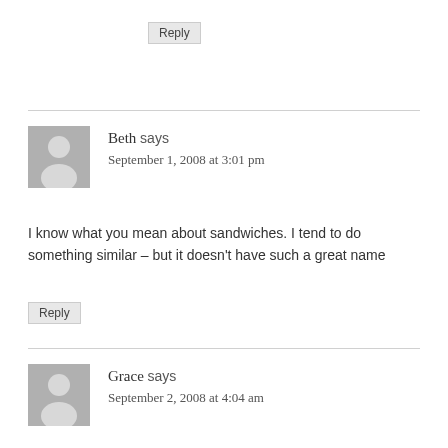Reply
Beth says
September 1, 2008 at 3:01 pm
I know what you mean about sandwiches. I tend to do something similar – but it doesn't have such a great name
Reply
Grace says
September 2, 2008 at 4:04 am